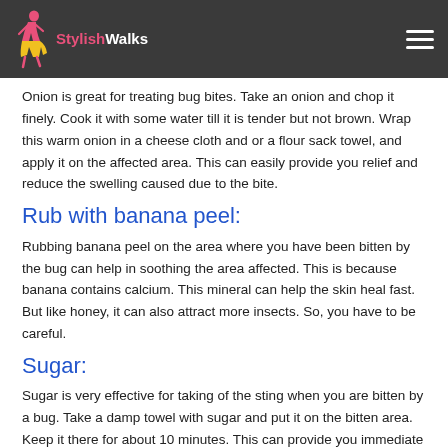StylishWalks
Onion is great for treating bug bites. Take an onion and chop it finely. Cook it with some water till it is tender but not brown. Wrap this warm onion in a cheese cloth and or a flour sack towel, and apply it on the affected area. This can easily provide you relief and reduce the swelling caused due to the bite.
Rub with banana peel:
Rubbing banana peel on the area where you have been bitten by the bug can help in soothing the area affected. This is because banana contains calcium. This mineral can help the skin heal fast. But like honey, it can also attract more insects. So, you have to be careful.
Sugar:
Sugar is very effective for taking of the sting when you are bitten by a bug. Take a damp towel with sugar and put it on the bitten area. Keep it there for about 10 minutes. This can provide you immediate